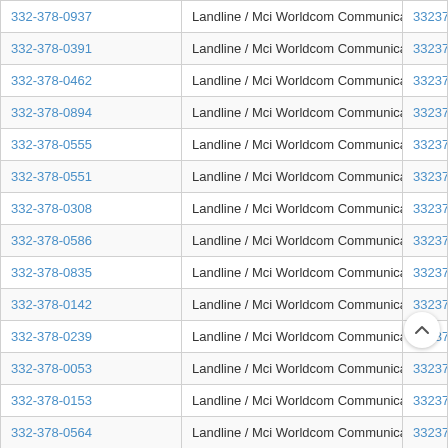| Phone | Type / Carrier | Number |
| --- | --- | --- |
| 332-378-0937 | Landline / Mci Worldcom Communications Inc. | 33237809 |
| 332-378-0391 | Landline / Mci Worldcom Communications Inc. | 33237803 |
| 332-378-0462 | Landline / Mci Worldcom Communications Inc. | 33237804 |
| 332-378-0894 | Landline / Mci Worldcom Communications Inc. | 33237808 |
| 332-378-0555 | Landline / Mci Worldcom Communications Inc. | 33237805 |
| 332-378-0551 | Landline / Mci Worldcom Communications Inc. | 33237805 |
| 332-378-0308 | Landline / Mci Worldcom Communications Inc. | 33237803 |
| 332-378-0586 | Landline / Mci Worldcom Communications Inc. | 33237805 |
| 332-378-0835 | Landline / Mci Worldcom Communications Inc. | 33237808 |
| 332-378-0142 | Landline / Mci Worldcom Communications Inc. | 33237801 |
| 332-378-0239 | Landline / Mci Worldcom Communications Inc. | 33237802 |
| 332-378-0053 | Landline / Mci Worldcom Communications Inc. | 33237800 |
| 332-378-0153 | Landline / Mci Worldcom Communications Inc. | 33237801 |
| 332-378-0564 | Landline / Mci Worldcom Communications Inc. | 33237805 |
| 332-378-0230 | Landline / Mci Worldcom Communications Inc. | 02 |
| 332-378-0365 | Landline / Mci Worldcom Communications Inc. | 030 |
| 332-378-0126 | Landline / Mci Worldcom Communications Inc. | 33237801 |
| 332-378-0728 | Landline / Mci Worldcom Communications Inc. | 33237807 |